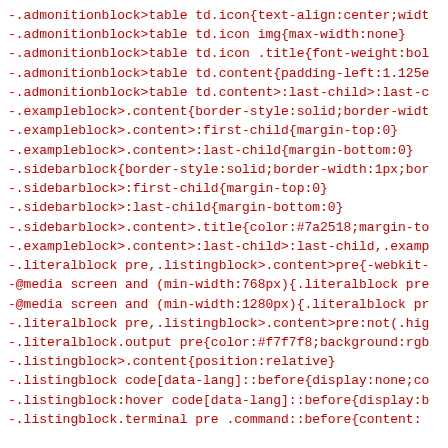-.admonitionblock>table td.icon{text-align:center;wid
-.admonitionblock>table td.icon img{max-width:none}
-.admonitionblock>table td.icon .title{font-weight:bol
-.admonitionblock>table td.content{padding-left:1.125e
-.admonitionblock>table td.content>:last-child>:last-c
-.exampleblock>.content{border-style:solid;border-wid
-.exampleblock>.content>:first-child{margin-top:0}
-.exampleblock>.content>:last-child{margin-bottom:0}
-.sidebarblock{border-style:solid;border-width:1px;bor
-.sidebarblock>:first-child{margin-top:0}
-.sidebarblock>:last-child{margin-bottom:0}
-.sidebarblock>.content>.title{color:#7a2518;margin-to
-.exampleblock>.content>:last-child>:last-child,.examp
-.literalblock pre,.listingblock>.content>pre{-webkit-
-@media screen and (min-width:768px){.literalblock pre
-@media screen and (min-width:1280px){.literalblock pr
-.literalblock pre,.listingblock>.content>pre:not(.hig
-.literalblock.output pre{color:#f7f7f8;background:rgb
-.listingblock>.content{position:relative}
-.listingblock code[data-lang]::before{display:none;co
-.listingblock:hover code[data-lang]::before{display:b
-.listingblock.terminal pre .command::before{content: